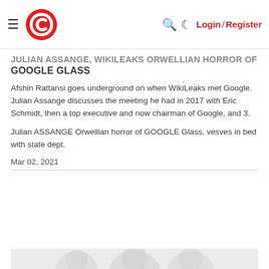Navigation bar with hamburger menu, logo, search, dark mode, Login / Register
JULIAN ASSANGE, WIKILEAKS ORWELLIAN HORROR OF GOOGLE GLASS
Afshin Rattansi goes underground on when WikiLeaks met Google. Julian Assange discusses the meeting he had in 2017 with Eric Schmidt, then a top executive and now chairman of Google, and 3.
Julian ASSANGE Orwellian horror of GOOGLE Glass, vesves in bed with state dept.
Mar 02, 2021
[Figure (photo): A low-visibility thumbnail image with a watermark reading '#adrenochrome' over a faint background image.]